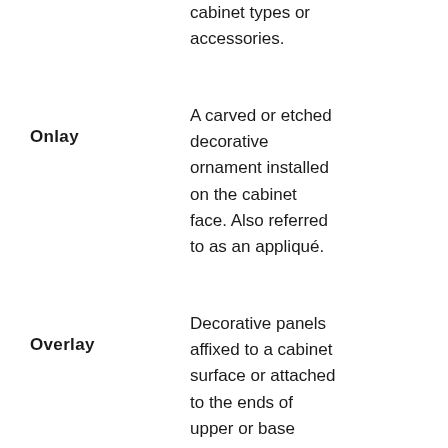cabinet types or accessories.
Onlay
A carved or etched decorative ornament installed on the cabinet face. Also referred to as an appliqué.
Overlay
Decorative panels affixed to a cabinet surface or attached to the ends of upper or base cabinets.